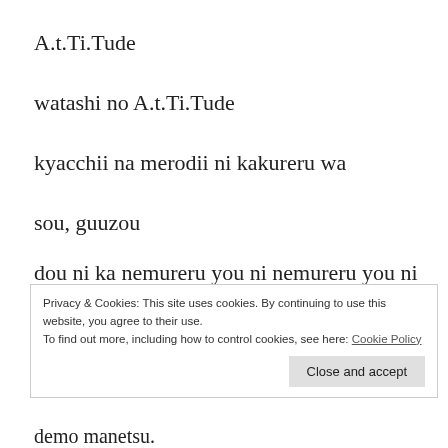A.t.Ti.Tude
watashi no A.t.Ti.Tude
kyacchii na merodii ni kakureru wa
sou, guuzou
dou ni ka nemureru you ni nemureru you ni me wo tsuburu
Privacy & Cookies: This site uses cookies. By continuing to use this website, you agree to their use. To find out more, including how to control cookies, see here: Cookie Policy
demo manetsu.